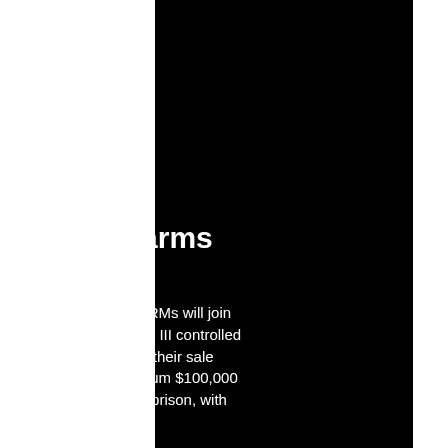Mk 677 sarms for sale
If the bill passes SARMs will join steroids as Schedule III controlled substances, making their sale illegal, with a maximum $100,000 fine and 10 years in prison, with no chance of parole.
It's a dangerous move for the bill, though, for sale sarms 677 mk. The only real harm would come from a surge in abuse.